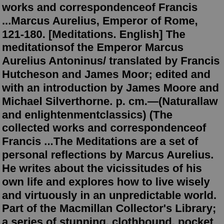works and correspondenceof Francis ...Marcus Aurelius, Emperor of Rome, 121-180. [Meditations. English] The meditationsof the Emperor Marcus Aurelius Antoninus/ translated by Francis Hutcheson and James Moor; edited and with an introduction by James Moore and Michael Silverthorne. p. cm.—(Naturallaw and enlightenmentclassics) (The collected works and correspondenceof Francis ...The Meditations are a set of personal reflections by Marcus Aurelius. He writes about the vicissitudes of his own life and explores how to live wisely and virtuously in an unpredictable world. Part of the Macmillan Collector's Library; a series of stunning, clothbound, pocket sized classics with gold foiled edges and ribbon markers. This is my narration of the The Meditations of Marcus Aurelius.The Meditations of Marcus Aurelius is a scrapbook of thoughts the emperor wrote to himself, re... Meditations of Marcus Aurelius. By: Marcus Aurelius. Narrated by: Alan Munro. Length: 5 hrs and 39 mins. 3.9 (2,068 ratings) 1 title per month from Audible's entire catalog of best